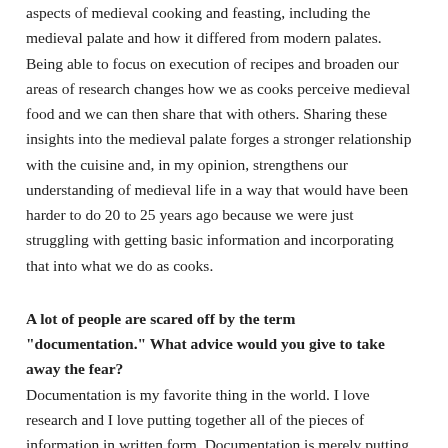aspects of medieval cooking and feasting, including the medieval palate and how it differed from modern palates. Being able to focus on execution of recipes and broaden our areas of research changes how we as cooks perceive medieval food and we can then share that with others. Sharing these insights into the medieval palate forges a stronger relationship with the cuisine and, in my opinion, strengthens our understanding of medieval life in a way that would have been harder to do 20 to 25 years ago because we were just struggling with getting basic information and incorporating that into what we do as cooks.
A lot of people are scared off by the term "documentation." What advice would you give to take away the fear?
Documentation is my favorite thing in the world. I love research and I love putting together all of the pieces of information in written form. Documentation is merely putting together all of your research in a logical